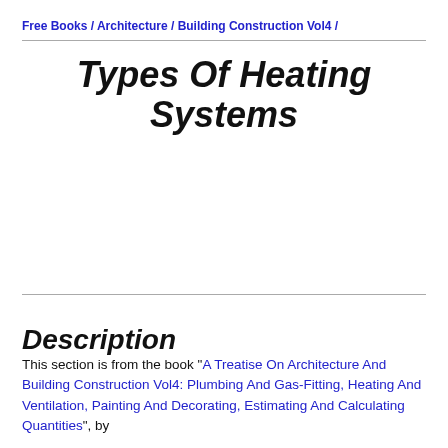Free Books / Architecture / Building Construction Vol4 /
Types Of Heating Systems
Description
This section is from the book "A Treatise On Architecture And Building Construction Vol4: Plumbing And Gas-Fitting, Heating And Ventilation, Painting And Decorating, Estimating And Calculating Quantities", by